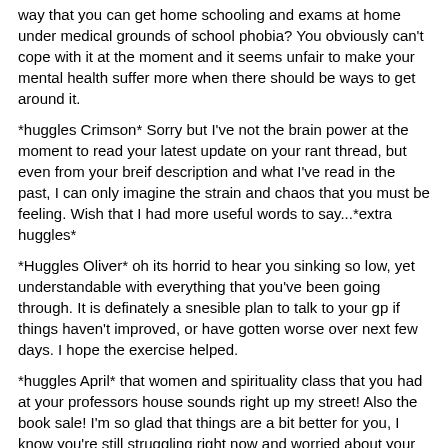way that you can get home schooling and exams at home under medical grounds of school phobia? You obviously can't cope with it at the moment and it seems unfair to make your mental health suffer more when there should be ways to get around it.
*huggles Crimson* Sorry but I've not the brain power at the moment to read your latest update on your rant thread, but even from your breif description and what I've read in the past, I can only imagine the strain and chaos that you must be feeling. Wish that I had more useful words to say...*extra huggles*
*Huggles Oliver* oh its horrid to hear you sinking so low, yet understandable with everything that you've been going through. It is definately a snesible plan to talk to your gp if things haven't improved, or have gotten worse over next few days. I hope the exercise helped.
*huggles April* that women and spirituality class that you had at your professors house sounds right up my street! Also the book sale! I'm so glad that things are a bit better for you, I know you're still struggling right now and worried about your GPA (which I don't understand to be honest, I dropped out of UK uni due to ill health after only 2months) and other things, but the end is in sight and you've so much to be proud of! Keep going and then you can flop out and hibernate away with all those books! Sorry to not read your rant thread yet, again, lacking brain power to do much more than this.
*huggles Mark* try not to compare yourself to your sister, although I know easier said than done. I've got 7 siblings and there is a lot of rivalry and its never good. I wish we could all just be happy and supportive, but human emotions seem to like to thrive on envy and